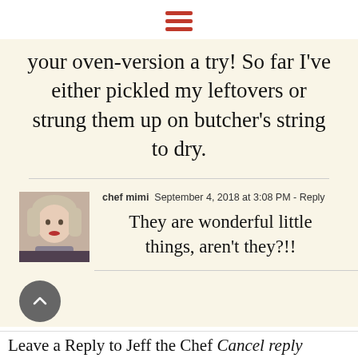[Figure (other): Hamburger menu icon with three red horizontal bars]
your oven-version a try! So far I've either pickled my leftovers or strung them up on butcher's string to dry.
chef mimi  September 4, 2018 at 3:08 PM - Reply
They are wonderful little things, aren't they?!!
[Figure (photo): Avatar photo of chef mimi - woman with short blonde hair and red lipstick]
Leave a Reply to Jeff the Chef Cancel reply